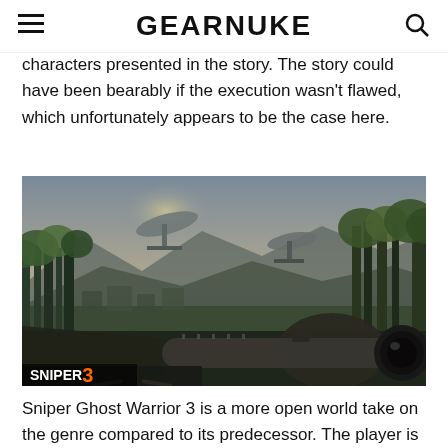GEARNUKE
characters presented in the story. The story could have been bearably if the execution wasn't flawed, which unfortunately appears to be the case here.
[Figure (screenshot): In-game screenshot from Sniper Ghost Warrior 3 showing a sniper rifle scope in the foreground with a forested mountain landscape and satellite dishes in the background. 'SNIPER 3' logo visible in bottom left.]
Sniper Ghost Warrior 3 is a more open world take on the genre compared to its predecessor. The player is free to approach the objectives on the world map or tackle some of the side quests as